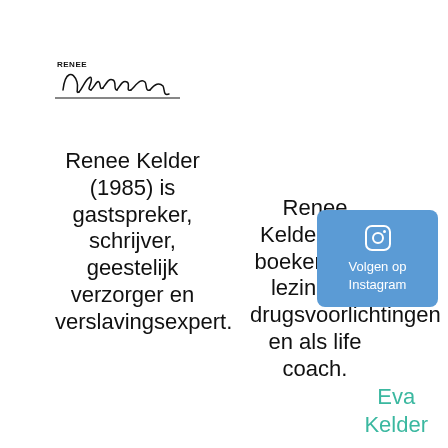[Figure (logo): Handwritten signature logo reading 'Renee Kelder' with underline]
Renee Kelder (1985) is gastspreker, schrijver, geestelijk verzorger en verslavingsexpert.
Renee Kelder is te boeken voor lezingen, drugsvoorlichtingen en als life coach.
[Figure (other): Blue rounded rectangle button with Instagram icon and text 'Volgen op Instagram']
Eva Kelder